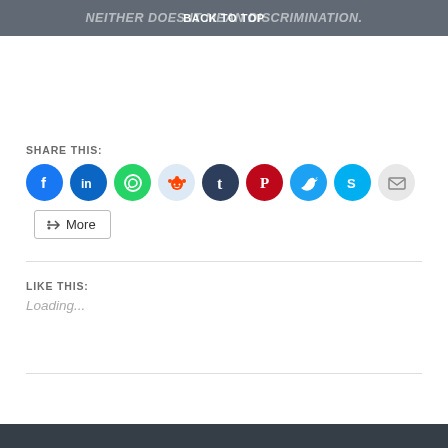NEITHER DOES IT MEAN DISCRIMINATION. BACK TO TOP
SHARE THIS:
[Figure (infographic): Row of social media share buttons: Facebook (blue), LinkedIn (blue), WhatsApp (green), Reddit (light blue), Tumblr (dark navy), Pinterest (red), Twitter (cyan blue), Skype (blue), Email (grey)]
More
LIKE THIS:
Loading...